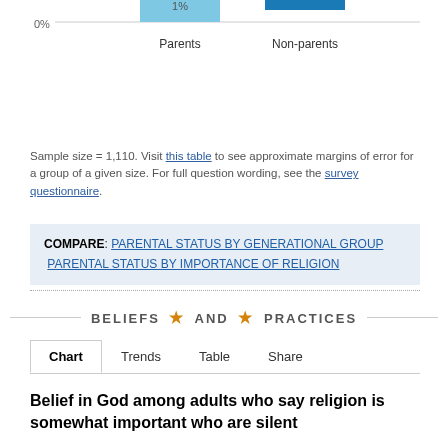[Figure (bar-chart): Partial bar chart showing Parents vs Non-parents]
Sample size = 1,110. Visit this table to see approximate margins of error for a group of a given size. For full question wording, see the survey questionnaire.
COMPARE: PARENTAL STATUS BY GENERATIONAL GROUP  PARENTAL STATUS BY IMPORTANCE OF RELIGION
BELIEFS ★ AND ★ PRACTICES
Chart  Trends  Table  Share
Belief in God among adults who say religion is somewhat important who are silent